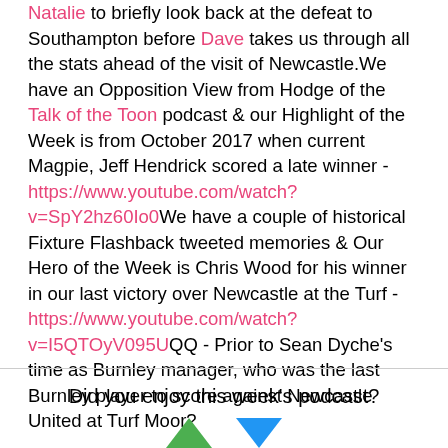Natalie to briefly look back at the defeat to Southampton before Dave takes us through all the stats ahead of the visit of Newcastle.We have an Opposition View from Hodge of the Talk of the Toon podcast & our Highlight of the Week is from October 2017 when current Magpie, Jeff Hendrick scored a late winner - https://www.youtube.com/watch?v=SpY2hz60Io0We have a couple of historical Fixture Flashback tweeted memories & Our Hero of the Week is Chris Wood for his winner in our last victory over Newcastle at the Turf - https://www.youtube.com/watch?v=I5QTOyV095UQQ - Prior to Sean Dyche's time as Burnley manager, who was the last Burnley player to score against Newcastle United at Turf Moor?
Did you enjoy this week's podcast?